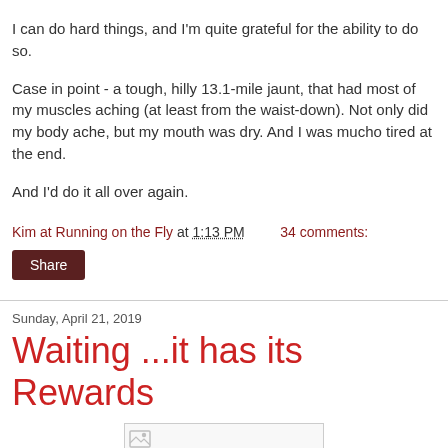I can do hard things, and I'm quite grateful for the ability to do so.
Case in point - a tough, hilly 13.1-mile jaunt, that had most of my muscles aching (at least from the waist-down). Not only did my body ache, but my mouth was dry. And I was mucho tired at the end.
And I'd do it all over again.
Kim at Running on the Fly at 1:13 PM   34 comments:
Share
Sunday, April 21, 2019
Waiting ...it has its Rewards
[Figure (other): Partial image thumbnail visible at bottom of page]